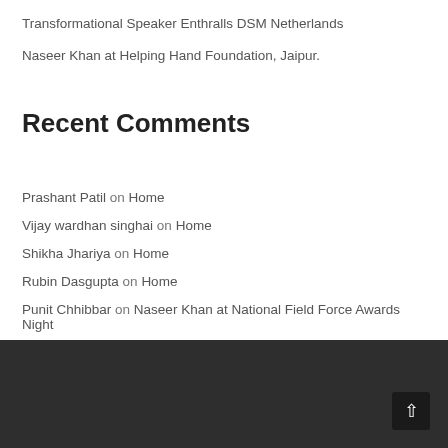Transformational Speaker Enthralls DSM Netherlands
Naseer Khan at Helping Hand Foundation, Jaipur.
Recent Comments
Prashant Patil on Home
Vijay wardhan singhai on Home
Shikha Jhariya on Home
Rubin Dasgupta on Home
Punit Chhibbar on Naseer Khan at National Field Force Awards Night